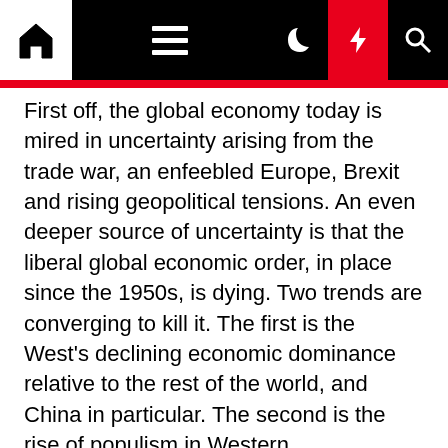Navigation bar with home, menu, dark mode, lightning, and search icons
First off, the global economy today is mired in uncertainty arising from the trade war, an enfeebled Europe, Brexit and rising geopolitical tensions. An even deeper source of uncertainty is that the liberal global economic order, in place since the 1950s, is dying. Two trends are converging to kill it. The first is the West's declining economic dominance relative to the rest of the world, and China in particular. The second is the rise of populism in Western democracies, arguably the most serious challenge to the legitimacy of the liberal global order. And yet, even as the liberal global economic order fades away, it's unclear what a post-liberal global economic order will look like. So for now, the global economy is like a barfly at closing time: it has no clue where it's going, but it can't stay here. Developed world economies have meanwhile been